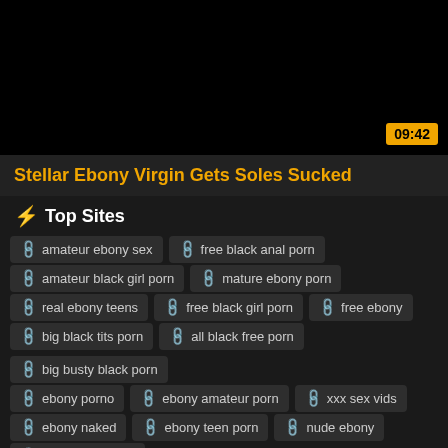[Figure (screenshot): Black video thumbnail with duration badge 09:42 in amber/gold in bottom right corner]
Stellar Ebony Virgin Gets Soles Sucked
⚡ Top Sites
amateur ebony sex
free black anal porn
amateur black girl porn
mature ebony porn
real ebony teens
free black girl porn
free ebony
big black tits porn
all black free porn
big busty black porn
ebony porno
ebony amateur porn
xxx sex vids
ebony naked
ebony teen porn
nude ebony
black chick porn